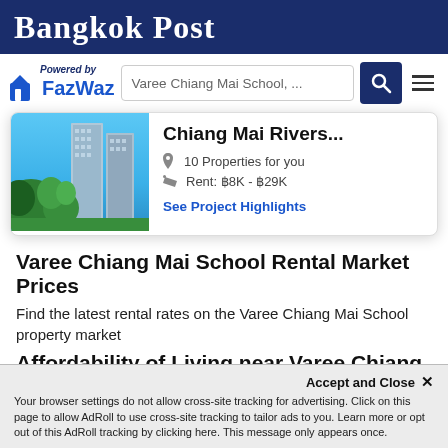Bangkok Post
[Figure (screenshot): FazWaz logo with 'Powered by' text and house icon]
Varee Chiang Mai School, ...
[Figure (photo): Chiang Mai Riverside condominium building with palm trees]
Chiang Mai Rivers...
10 Properties for you
Rent: ฿8K - ฿29K
See Project Highlights
Varee Chiang Mai School Rental Market Prices
Find the latest rental rates on the Varee Chiang Mai School property market
Affordability of Living near Varee Chiang Mai School
Accept and Close ✕
Your browser settings do not allow cross-site tracking for advertising. Click on this page to allow AdRoll to use cross-site tracking to tailor ads to you. Learn more or opt out of this AdRoll tracking by clicking here. This message only appears once.